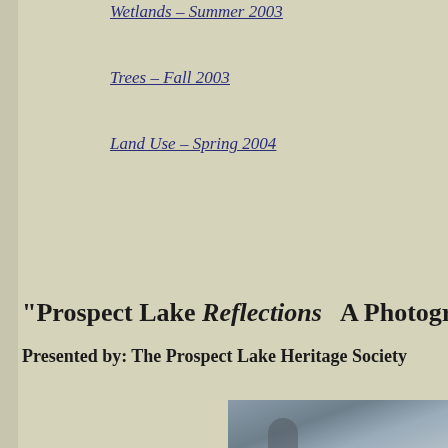Wetlands – Summer 2003
Trees – Fall 2003
Land Use – Spring 2004
“Prospect Lake Reflections   A Photogra…
Presented by: The Prospect Lake Heritage Society
[Figure (photo): Partial photograph visible at bottom right, appears to show a grey sky or water scene with a silhouette]